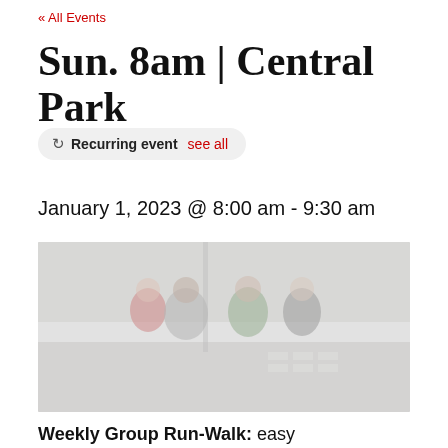« All Events
Sun. 8am | Central Park
↻ Recurring event  see all
January 1, 2023 @ 8:00 am - 9:30 am
[Figure (photo): Group of people posing together in Central Park on a road, wearing athletic/running gear. Trees and park scenery visible in background.]
Weekly Group Run-Walk: easy